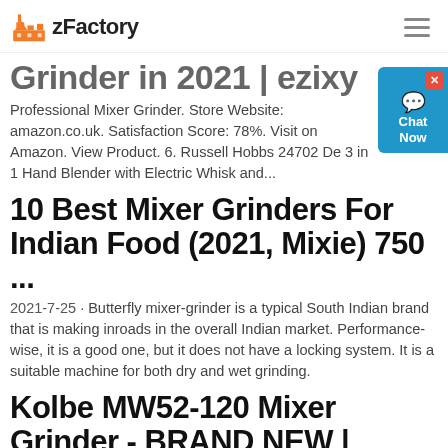zFactory
Grinder in 2021 | ezixy
Professional Mixer Grinder. Store Website: amazon.co.uk. Satisfaction Score: 78%. Visit on Amazon. View Product. 6. Russell Hobbs 24702 De 3 in 1 Hand Blender with Electric Whisk and...
10 Best Mixer Grinders For Indian Food (2021, Mixie) 750 ...
2021-7-25 · Butterfly mixer-grinder is a typical South Indian brand that is making inroads in the overall Indian market. Performance-wise, it is a good one, but it does not have a locking system. It is a suitable machine for both dry and wet grinding.
Kolbe MW52-120 Mixer Grinder - BRAND NEW | Orbital
BRAND NEW. Ideal for use in small to medium meat processors, butchers and catering businesses. 120 litre hopper capacity. 52 size head.